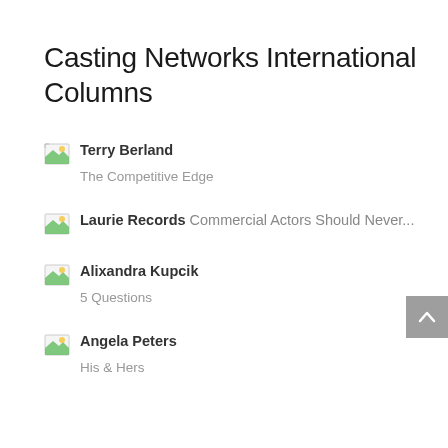Casting Networks International Columns
Terry Berland – The Competitive Edge
Laurie Records – Commercial Actors Should Never...
Alixandra Kupcik – 5 Questions
Angela Peters – His & Hers